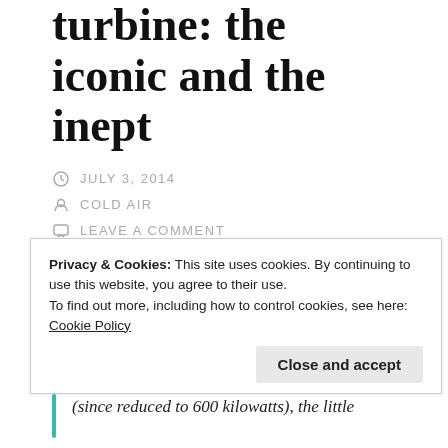turbine: the iconic and the inept
JULY 3, 2014
COLD AIR
LEAVE A COMMENT
Parker Gallant's latest, at Wind Concerns Ontario, is a splendidly acerbic take on an old topic/fraud.
If a pollster surveyed Toronto residents asking if they had ever seen a "wind turbine,"
Privacy & Cookies: This site uses cookies. By continuing to use this website, you agree to their use.
To find out more, including how to control cookies, see here: Cookie Policy
(since reduced to 600 kilowatts), the little